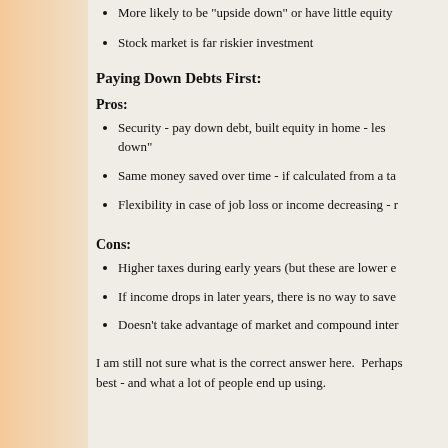More likely to be "upside down" or have little equity
Stock market is far riskier investment
Paying Down Debts First:
Pros:
Security - pay down debt, built equity in home - less likely to go "upside down"
Same money saved over time - if calculated from a tax perspective
Flexibility in case of job loss or income decreasing - mortgage is lower
Cons:
Higher taxes during early years (but these are lower early on anyway)
If income drops in later years, there is no way to save the money
Doesn't take advantage of market and compound interest
I am still not sure what is the correct answer here. Perhaps a blend of both is best - and what a lot of people end up using.